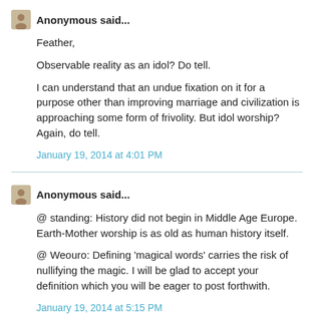Anonymous said...
Feather,

Observable reality as an idol? Do tell.

I can understand that an undue fixation on it for a purpose other than improving marriage and civilization is approaching some form of frivolity. But idol worship? Again, do tell.
January 19, 2014 at 4:01 PM
Anonymous said...
@ standing: History did not begin in Middle Age Europe. Earth-Mother worship is as old as human history itself.

@ Weouro: Defining 'magical words' carries the risk of nullifying the magic. I will be glad to accept your definition which you will be eager to post forthwith.
January 19, 2014 at 5:15 PM